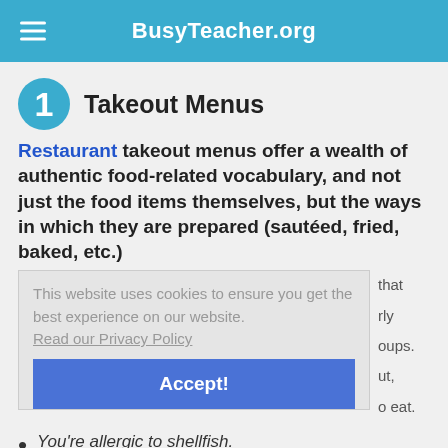BusyTeacher.org
Takeout Menus
Restaurant takeout menus offer a wealth of authentic food-related vocabulary, and not just the food items themselves, but the ways in which they are prepared (sautéed, fried, baked, etc.)
This website uses cookies to ensure you get the best experience on our website. Read our Privacy Policy
that rly oups. ut, o eat.
Accept!
You're allergic to shellfish.